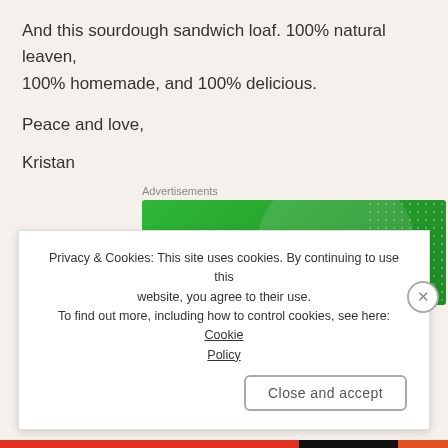And this sourdough sandwich loaf. 100% natural leaven, 100% homemade, and 100% delicious.
Peace and love,
Kristan
[Figure (screenshot): Jetpack advertisement banner on green background with logo]
Privacy & Cookies: This site uses cookies. By continuing to use this website, you agree to their use.
To find out more, including how to control cookies, see here: Cookie Policy
Close and accept